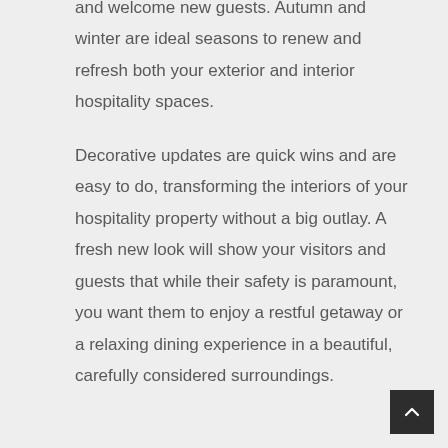and welcome new guests. Autumn and winter are ideal seasons to renew and refresh both your exterior and interior hospitality spaces.
Decorative updates are quick wins and are easy to do, transforming the interiors of your hospitality property without a big outlay. A fresh new look will show your visitors and guests that while their safety is paramount, you want them to enjoy a restful getaway or a relaxing dining experience in a beautiful, carefully considered surroundings.